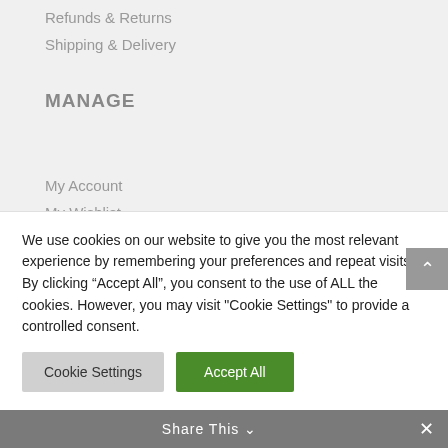Refunds & Returns
Shipping & Delivery
MANAGE
My Account
My Wishlist
Track My Order
COMPANY INFO
We use cookies on our website to give you the most relevant experience by remembering your preferences and repeat visits. By clicking “Accept All”, you consent to the use of ALL the cookies. However, you may visit "Cookie Settings" to provide a controlled consent.
Cookie Settings | Accept All
Share This ∨